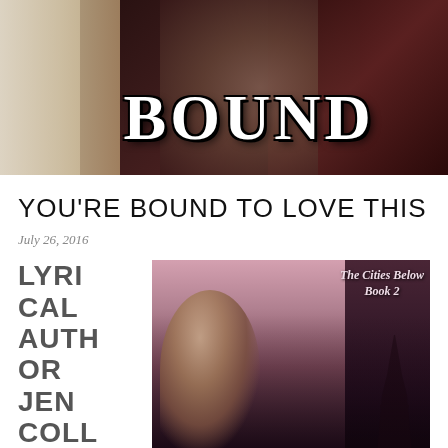[Figure (photo): Book cover banner image showing 'BOUND' title text in white serif font with black outline, over a dark romantic background with a couple embracing and a cityscape at night on the right side]
YOU'RE BOUND TO LOVE THIS
July 26, 2016
LYRICAL AUTHOR JEN COLLY HAS
[Figure (photo): Book cover for 'The Cities Below Book 2' showing a romantic couple embracing, man with dark hair in white shirt and woman with dark hair, with the Eiffel Tower in the background against a moody pink/dark cityscape]